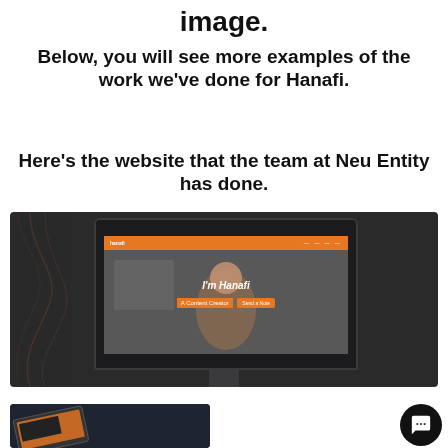image.
Below, you will see more examples of the work we’ve done for Hanafi.
Here’s the website that the team at Neu Entity has done.
[Figure (screenshot): iMac monitor displaying the Hanafi website with orange navigation bar and 'I'm Hanafi, A Content Creator' hero text, shown on a dark background with decorative curved lines.]
[Figure (photo): Partial view of a dark section showing what appears to be a tablet or printed material at an angle with orange and dark design.]